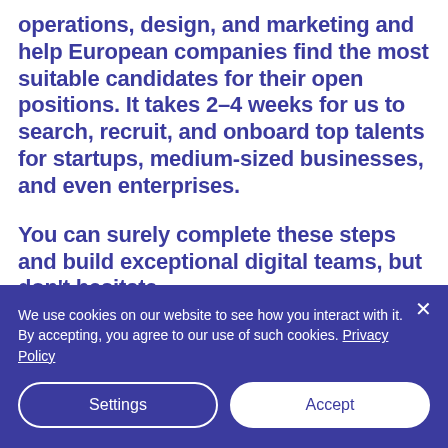operations, design, and marketing and help European companies find the most suitable candidates for their open positions. It takes 2-4 weeks for us to search, recruit, and onboard top talents for startups, medium-sized businesses, and even enterprises.
You can surely complete these steps and build exceptional digital teams, but don't hesitate
We use cookies on our website to see how you interact with it. By accepting, you agree to our use of such cookies. Privacy Policy